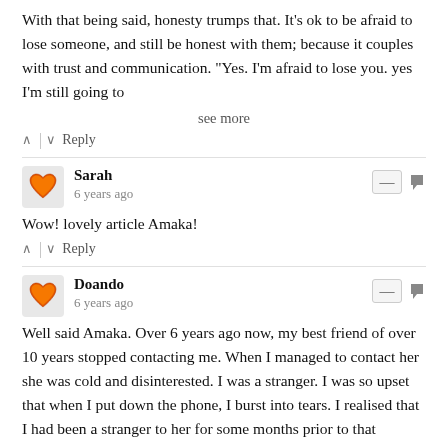With that being said, honesty trumps that. It's ok to be afraid to lose someone, and still be honest with them; because it couples with trust and communication. "Yes. I'm afraid to lose you. yes I'm still going to
see more
∧ | ∨  Reply
Sarah
6 years ago
Wow! lovely article Amaka!
∧ | ∨  Reply
Doando
6 years ago
Well said Amaka. Over 6 years ago now, my best friend of over 10 years stopped contacting me. When I managed to contact her she was cold and disinterested. I was a stranger. I was so upset that when I put down the phone, I burst into tears. I realised that I had been a stranger to her for some months prior to that moment but I had no idea until then. I was still invested in our friendship so the end came as the greatest shock. Even today, 5 years later I mourn for that friendship and have no idea what I did to her for her to want to shut me out. I